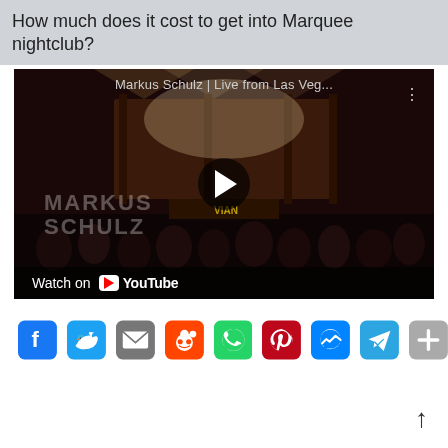How much does it cost to get into Marquee nightclub?
[Figure (screenshot): YouTube video thumbnail showing Markus Schulz live from Las Vegas nightclub performance with play button overlay and Watch on YouTube bar]
[Figure (infographic): Row of social media share icons: Facebook, Twitter, Email, Reddit, WhatsApp, Pinterest, Messenger, Telegram, More]